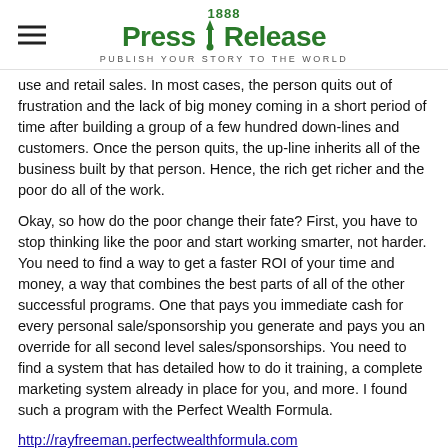1888 Press Release — PUBLISH YOUR STORY TO THE WORLD
use and retail sales. In most cases, the person quits out of frustration and the lack of big money coming in a short period of time after building a group of a few hundred down-lines and customers. Once the person quits, the up-line inherits all of the business built by that person. Hence, the rich get richer and the poor do all of the work.
Okay, so how do the poor change their fate? First, you have to stop thinking like the poor and start working smarter, not harder. You need to find a way to get a faster ROI of your time and money, a way that combines the best parts of all of the other successful programs. One that pays you immediate cash for every personal sale/sponsorship you generate and pays you an override for all second level sales/sponsorships. You need to find a system that has detailed how to do it training, a complete marketing system already in place for you, and more. I found such a program with the Perfect Wealth Formula.
http://rayfreeman.perfectwealthformula.com
###